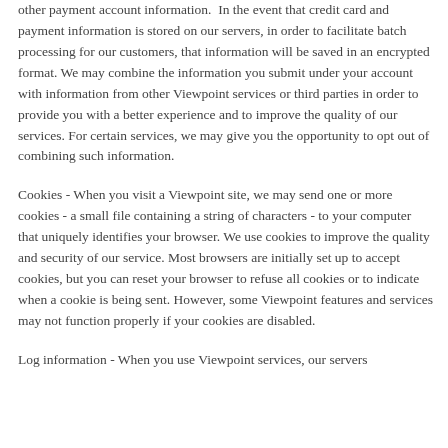other payment account information. In the event that credit card and payment information is stored on our servers, in order to facilitate batch processing for our customers, that information will be saved in an encrypted format. We may combine the information you submit under your account with information from other Viewpoint services or third parties in order to provide you with a better experience and to improve the quality of our services. For certain services, we may give you the opportunity to opt out of combining such information.
Cookies - When you visit a Viewpoint site, we may send one or more cookies - a small file containing a string of characters - to your computer that uniquely identifies your browser. We use cookies to improve the quality and security of our service. Most browsers are initially set up to accept cookies, but you can reset your browser to refuse all cookies or to indicate when a cookie is being sent. However, some Viewpoint features and services may not function properly if your cookies are disabled.
Log information - When you use Viewpoint services, our servers